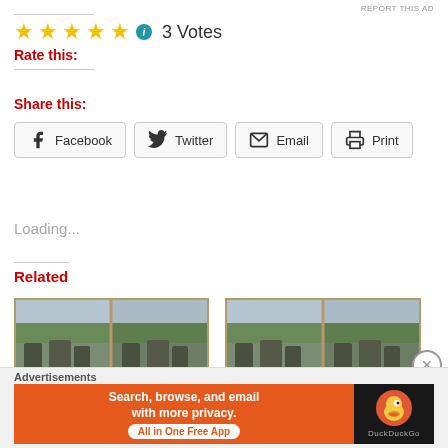Rate this: ★★★★★  ℹ  3 Votes
Share this:
Facebook  Twitter  Email  Print
Loading...
Related
[Figure (photo): Two side-by-side images of soldiers in military uniform outdoors]
[Figure (photo): Two side-by-side images of soldiers in military uniform outdoors]
Advertisements
[Figure (infographic): DuckDuckGo advertisement banner: Search, browse, and email with more privacy. All in One Free App]